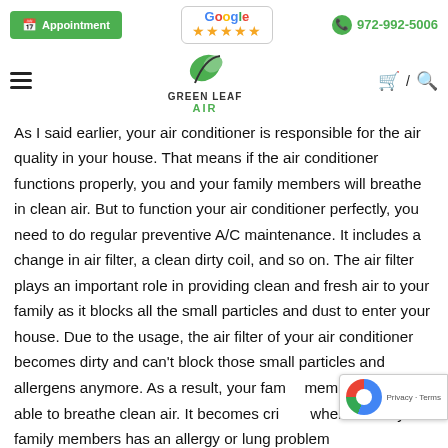Appointment | Google ★★★★★ | 972-992-5006
[Figure (logo): Green Leaf Air logo with hamburger menu, cart, and search icons]
As I said earlier, your air conditioner is responsible for the air quality in your house. That means if the air conditioner functions properly, you and your family members will breathe in clean air. But to function your air conditioner perfectly, you need to do regular preventive A/C maintenance. It includes a change in air filter, a clean dirty coil, and so on. The air filter plays an important role in providing clean and fresh air to your family as it blocks all the small particles and dust to enter your house. Due to the usage, the air filter of your air conditioner becomes dirty and can't block those small particles and allergens anymore. As a result, your family members won't be able to breathe clean air. It becomes cri... when one of your family members has an allergy or lung problem